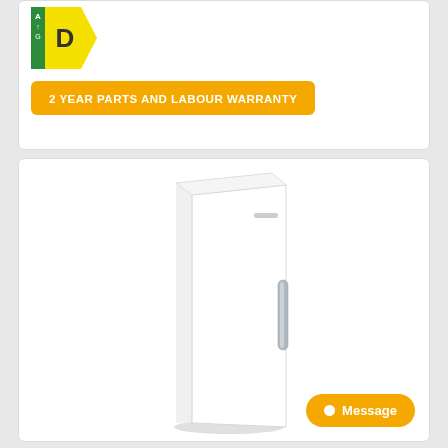[Figure (infographic): EU energy efficiency label showing rating D on a scale from A to G, in yellow/green arrow format]
2 YEAR PARTS AND LABOUR WARRANTY
[Figure (photo): White upright freestanding fridge freezer (Bosch style) with chrome handle, shown at slight angle on white background]
Message